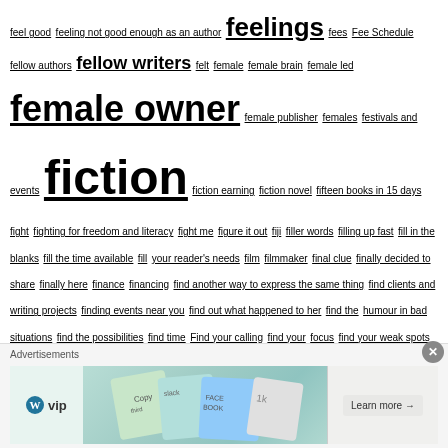feel good feeling not good enough as an author feelings fees Fee Schedule fellow authors fellow writers felt female female brain female led female owner female publisher females festivals and events fiction fiction earning fiction novel fifteen books in 15 days fight fighting for freedom and literacy fight me figure it out fiji filler words filling up fast fill in the blanks fill the time available fill your reader's needs film filmmaker final clue finally decided to share finally here finance financing find another way to express the same thing find clients and writing projects finding events near you find out what happened to her find the humour in bad situations find the possibilities find time Find your calling find your focus find your weak spots fingers to keyboard finish finished finishing your manuscript finish novel finish the book finish the race finish what you start finish your novel first first 51 people first draft first edition first five pages first impression first impressions matter first impressions matter for authors first one first page first person first person narrative fish book fit fit smoothly together five five elements of plot structure. five minutes to change your writing life five second rule five senses five words fix it fix them flashback flashcards flash fiction
[Figure (other): Advertisement banner with WordPress VIP logo and colorful card graphics with 'Learn more' button]